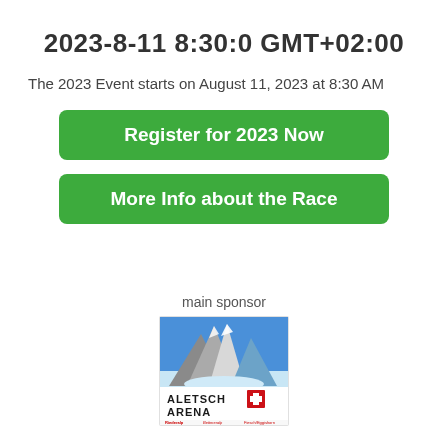2023-8-11 8:30:0 GMT+02:00
The 2023 Event starts on August 11, 2023 at 8:30 AM
Register for 2023 Now
More Info about the Race
main sponsor
[Figure (logo): Aletsch Arena logo with mountain peaks graphic and sponsor sub-brands]